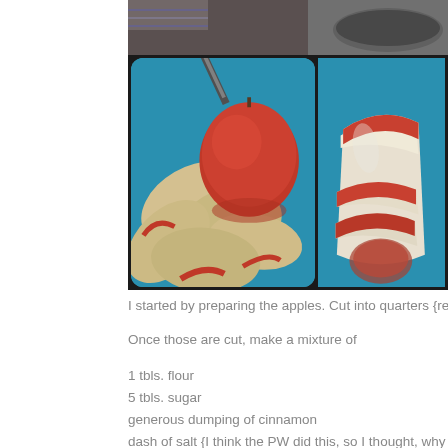[Figure (photo): Photos of apple slices on a blue cutting board with a knife visible. Two side-by-side photos showing apple preparation steps — left shows multiple apple slices fanned out with a whole apple, right shows apple wedges/quarters being cut.]
I started by preparing the apples. Cut into quarters {remove seeds},
Once those are cut, make a mixture of
1 tbls. flour
5 tbls. sugar
generous dumping of cinnamon
dash of salt {I think the PW did this, so I thought, why not?!}